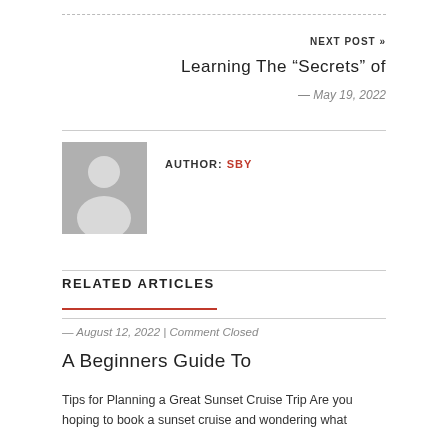NEXT POST »
Learning The “Secrets” of
— May 19, 2022
[Figure (illustration): Generic user avatar: grey square background with a white silhouette of a person (circle head, rounded shoulders)]
AUTHOR: SBY
RELATED ARTICLES
— August 12, 2022 | Comment Closed
A Beginners Guide To
Tips for Planning a Great Sunset Cruise Trip Are you hoping to book a sunset cruise and wondering what